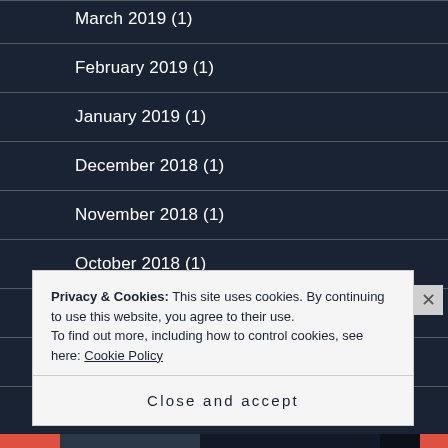March 2019 (1)
February 2019 (1)
January 2019 (1)
December 2018 (1)
November 2018 (1)
October 2018 (1)
August 2018 (1)
July 2018 (1)
Privacy & Cookies: This site uses cookies. By continuing to use this website, you agree to their use.
To find out more, including how to control cookies, see here: Cookie Policy
Close and accept